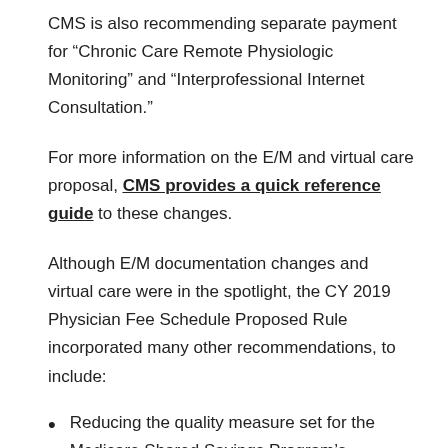CMS is also recommending separate payment for “Chronic Care Remote Physiologic Monitoring” and “Interprofessional Internet Consultation.”
For more information on the E/M and virtual care proposal, CMS provides a quick reference guide to these changes.
Although E/M documentation changes and virtual care were in the spotlight, the CY 2019 Physician Fee Schedule Proposed Rule incorporated many other recommendations, to include:
Reducing the quality measure set for the Medicare Shared Savings Program’s Accountable Care Organizations from 31 to 24;
Dropping the drug payment add-on to three percent for